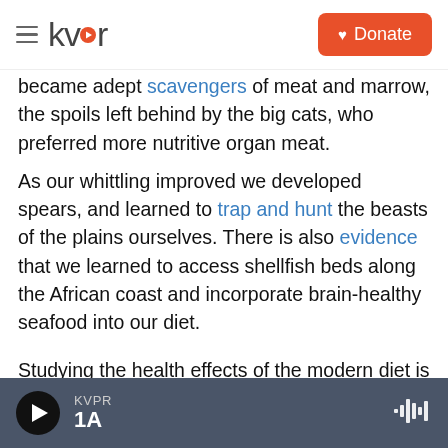kvpr | Donate
became adept scavengers of meat and marrow, the spoils left behind by the big cats, who preferred more nutritive organ meat.
As our whittling improved we developed spears, and learned to trap and hunt the beasts of the plains ourselves. There is also evidence that we learned to access shellfish beds along the African coast and incorporate brain-healthy seafood into our diet.
Studying the health effects of the modern diet is tricky. Dietary studies are notoriously dubious and
KVPR 1A